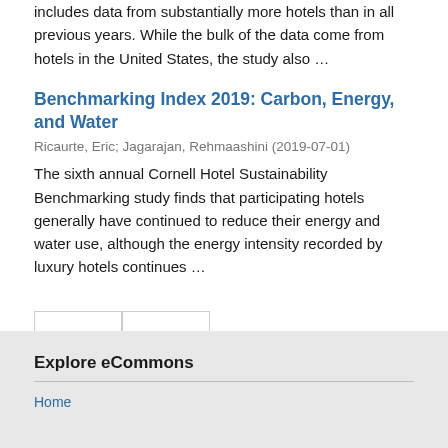includes data from substantially more hotels than in all previous years. While the bulk of the data come from hotels in the United States, the study also …
Benchmarking Index 2019: Carbon, Energy, and Water
Ricaurte, Eric; Jagarajan, Rehmaashini (2019-07-01)
The sixth annual Cornell Hotel Sustainability Benchmarking study finds that participating hotels generally have continued to reduce their energy and water use, although the energy intensity recorded by luxury hotels continues …
[Figure (other): Pagination controls with left and right arrow buttons]
Explore eCommons
Home